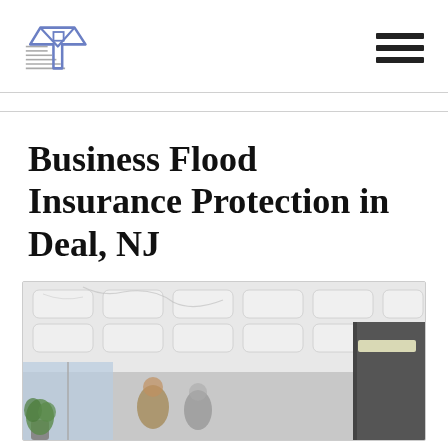Logo and navigation menu
Business Flood Insurance Protection in Deal, NJ
[Figure (photo): Interior of a modern commercial office space with white paneled ceiling, large windows, and people visible in the background]